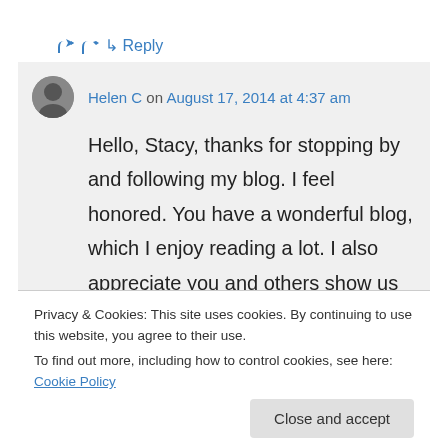↳ Reply
Helen C on August 17, 2014 at 4:37 am
Hello, Stacy, thanks for stopping by and following my blog. I feel honored. You have a wonderful blog, which I enjoy reading a lot. I also appreciate you and others show us how you post-processing your photo. I have learned a lot from it. Your blog is not
Privacy & Cookies: This site uses cookies. By continuing to use this website, you agree to their use.
To find out more, including how to control cookies, see here: Cookie Policy
Close and accept